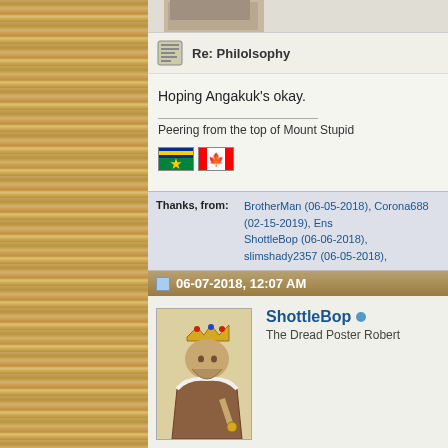[Figure (photo): Partial top image bar, cropped photo]
Re: Philolsophy
Hoping Angakuk's okay.
Peering from the top of Mount Stupid
[Figure (illustration): BC flag and Canadian flag icons]
Thanks, from: BrotherMan (06-05-2018), Corona688 (02-15-2019), Ens ShottleBop (06-06-2018), slimshady2357 (06-05-2018),
06-07-2018, 12:07 AM
[Figure (illustration): Avatar image of a crowned king figure (ShottleBop)]
ShottleBop
The Dread Poster Robert
Re: Philolsophy